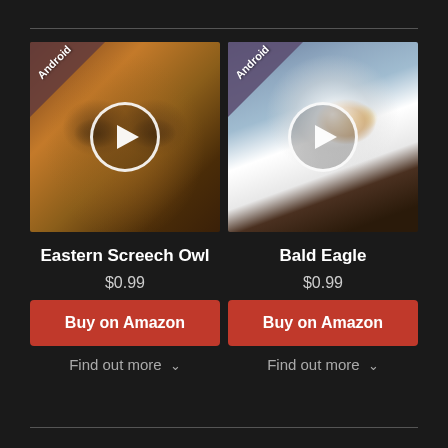[Figure (photo): Two side-by-side thumbnail images: left shows an Eastern Screech Owl with a brownish/golden feathered face, right shows a Bald Eagle with white head and yellow beak against blue background. Both have an 'Android' badge triangle in the top-left corner and a circular white play button overlay in the center.]
Eastern Screech Owl
Bald Eagle
$0.99
$0.99
Buy on Amazon
Buy on Amazon
Find out more ∨
Find out more ∨